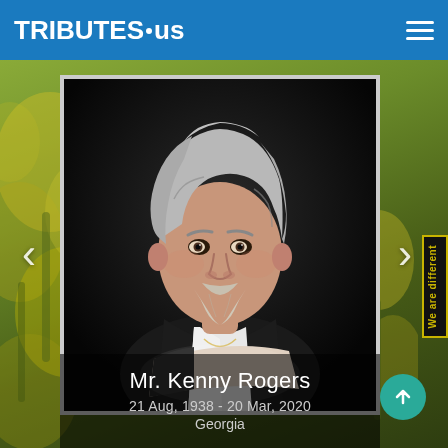TRIBUTES.us
[Figure (photo): Portrait photo of Mr. Kenny Rogers, a man with gray wavy hair and a beard, wearing a white shirt and dark vest, arms resting on a surface, against a dark background]
We are different
Mr. Kenny Rogers
21 Aug, 1938 - 20 Mar, 2020
Georgia